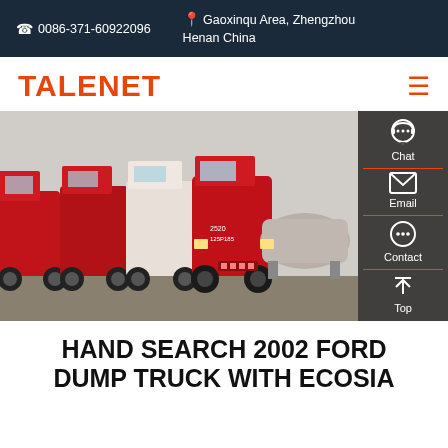0086-371-60922096  Gaoxinqu Area, Zhengzhou Henan China
[Figure (logo): TALENET logo in orange/red bold text with hamburger menu icon]
[Figure (photo): Row of red and white heavy trucks parked in a lot, with a sidebar showing Chat, Email, Contact, Top navigation icons]
HAND SEARCH 2002 FORD DUMP TRUCK WITH ECOSIA